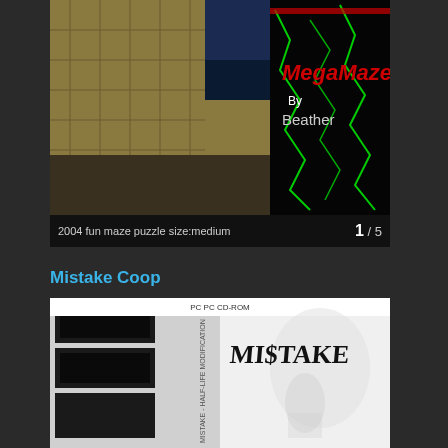[Figure (screenshot): Two game screenshots side by side: left shows a first-person view of a maze corridor with stone/brick walls; right shows a black background with 'MegaMaze By Beather' text in red/green neon-style lettering with green zigzag lines]
2004 fun maze puzzle size:medium    1 / 5
Mistake Coop
[Figure (screenshot): Game box art for 'MISTAKE - HALF-LIFE MODIFICATION' PC CD-ROM. Left panel shows dark room screenshots stacked vertically. Right panel shows 'MISTAKE' written in graffiti-style font on a light background with a ghostly figure.]